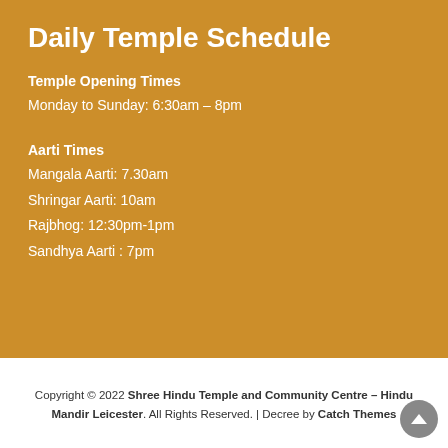Daily Temple Schedule
Temple Opening Times
Monday to Sunday: 6:30am – 8pm
Aarti Times
Mangala Aarti: 7.30am
Shringar Aarti: 10am
Rajbhog: 12:30pm-1pm
Sandhya Aarti : 7pm
Copyright © 2022 Shree Hindu Temple and Community Centre – Hindu Mandir Leicester. All Rights Reserved. | Decree by Catch Themes